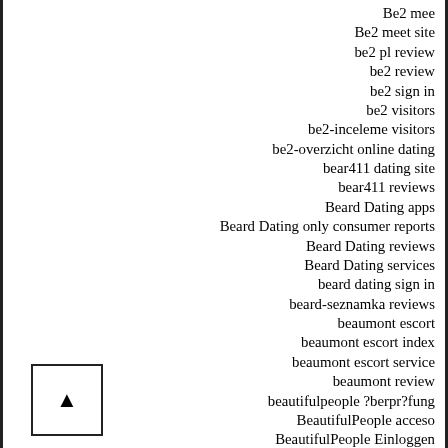Be2 mee
Be2 meet site
be2 pl review
be2 review
be2 sign in
be2 visitors
be2-inceleme visitors
be2-overzicht online dating
bear411 dating site
bear411 reviews
Beard Dating apps
Beard Dating only consumer reports
Beard Dating reviews
Beard Dating services
beard dating sign in
beard-seznamka reviews
beaumont escort
beaumont escort index
beaumont escort service
beaumont review
beautifulpeople ?berpr?fung
BeautifulPeople acceso
BeautifulPeople Einloggen
beautifulpeople meet site
beautifulpeople mobile site
BeautifulPeople online dating
BeautifulPeople prezzo